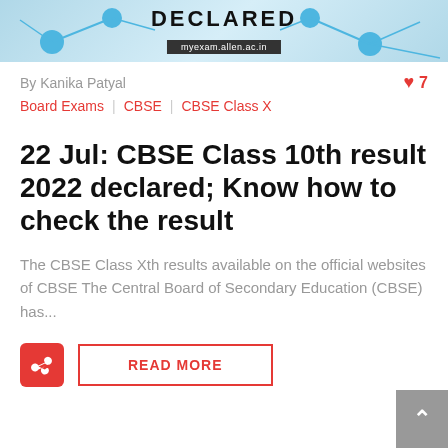[Figure (illustration): Banner image with light blue background, node/network graphic elements, and bold text 'DECLARED' with myexam.allen.ac.in URL shown below]
By Kanika Patyal
❤ 7
Board Exams | CBSE | CBSE Class X
22 Jul: CBSE Class 10th result 2022 declared; Know how to check the result
The CBSE Class Xth results available on the official websites of CBSE The Central Board of Secondary Education (CBSE) has...
READ MORE